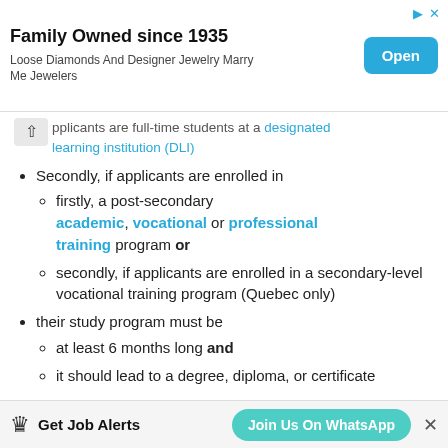[Figure (other): Advertisement banner: 'Family Owned since 1935 - Loose Diamonds And Designer Jewelry Marry Me Jewelers' with an Open button]
applicants are full-time students at a designated learning institution (DLI)
Secondly, if applicants are enrolled in
firstly, a post-secondary academic, vocational or professional training program or
secondly, if applicants are enrolled in a secondary-level vocational training program (Quebec only)
their study program must be
at least 6 months long and
it should lead to a degree, diploma, or certificate
[Figure (other): Bottom promotional bar: crown icon, 'Get Job Alerts', 'Join Us On WhatsApp' button, close X]